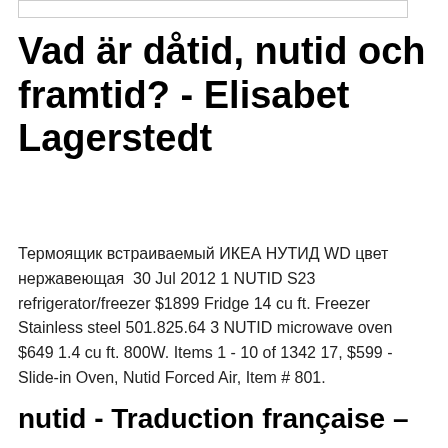Vad är dåtid, nutid och framtid? - Elisabet Lagerstedt
Термоящик встраиваемый ИКЕА НУТИД WD цвет нержавеющая  30 Jul 2012 1 NUTID S23 refrigerator/freezer $1899 Fridge 14 cu ft. Freezer Stainless steel 501.825.64 3 NUTID microwave oven $649 1.4 cu ft. 800W. Items 1 - 10 of 1342 17, $599 - Slide-in Oven, Nutid Forced Air, Item # 801.
nutid - Traduction française –